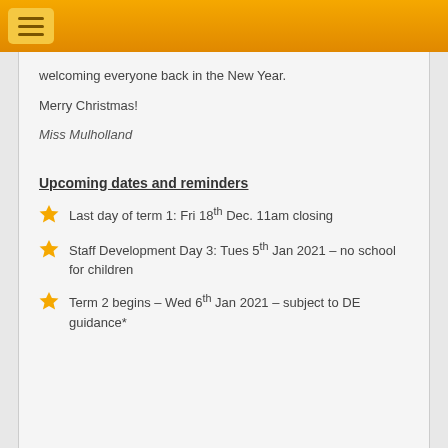welcoming everyone back in the New Year.
Merry Christmas!
Miss Mulholland
Upcoming dates and reminders
Last day of term 1: Fri 18th Dec. 11am closing
Staff Development Day 3: Tues 5th Jan 2021 – no school for children
Term 2 begins – Wed 6th Jan 2021 – subject to DE guidance*